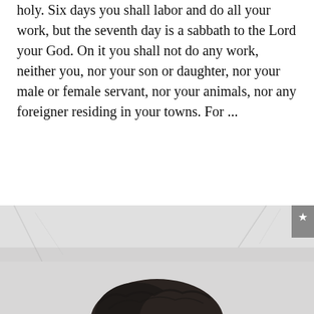holy. Six days you shall labor and do all your work, but the seventh day is a sabbath to the Lord your God. On it you shall not do any work, neither you, nor your son or daughter, nor your male or female servant, nor your animals, nor any foreigner residing in your towns. For ...
CONTINUE READING →
[Figure (photo): A black and white photo showing the top of a person's head with dark hair, against a light blurred background.]